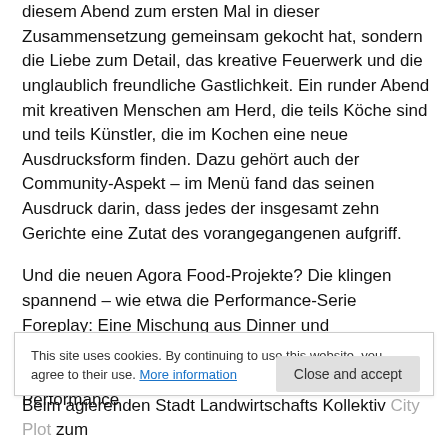diesem Abend zum ersten Mal in dieser Zusammensetzung gemeinsam gekocht hat, sondern die Liebe zum Detail, das kreative Feuerwerk und die unglaublich freundliche Gastlichkeit. Ein runder Abend mit kreativen Menschen am Herd, die teils Köche sind und teils Künstler, die im Kochen eine neue Ausdrucksform finden. Dazu gehört auch der Community-Aspekt – im Menü fand das seinen Ausdruck darin, dass jedes der insgesamt zehn Gerichte eine Zutat des vorangegangenen aufgriff.
Und die neuen Agora Food-Projekte? Die klingen spannend – wie etwa die Performance-Serie Foreplay: Eine Mischung aus Dinner und darstellender Kunst, bei der Koch und Choreograph zusammenarbeiten und das Thema Food in die Performance e... s... T...
Beim agierenden Stadt Landwirtschafts Kollektiv City Plot zum
This site uses cookies. By continuing to use this website, you agree to their use. More information
Close and accept